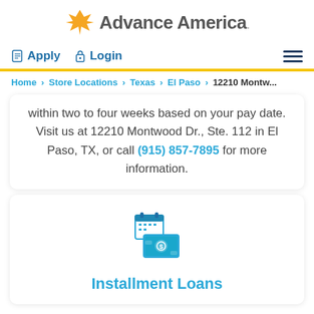[Figure (logo): Advance America logo with golden bird/arrow icon and gray text]
Apply  Login  [hamburger menu]
Home › Store Locations › Texas › El Paso › 12210 Montw...
within two to four weeks based on your pay date. Visit us at 12210 Montwood Dr., Ste. 112 in El Paso, TX, or call (915) 857-7895 for more information.
[Figure (illustration): Calendar and cash/money icon in teal/blue color]
Installment Loans